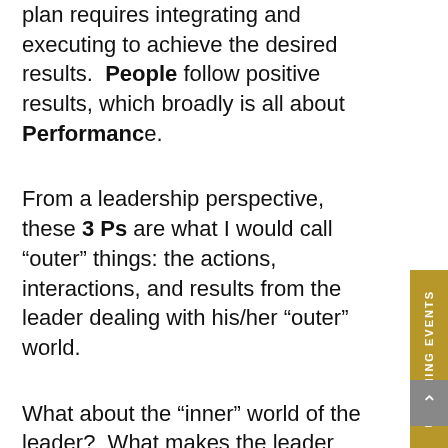plan requires integrating and executing to achieve the desired results. People follow positive results, which broadly is all about Performance.
From a leadership perspective, these 3 Ps are what I would call “outer” things: the actions, interactions, and results from the leader dealing with his/her “outer” world.
What about the “inner” world of the leader?  What makes the leader behave, act, and respond to this “outer” world?
Let me advocate another simple framework based on The 4 Inner Ps: Purpose, Persuasions, Personality, and